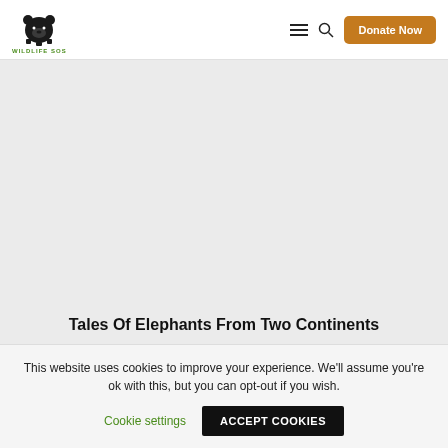WILDLIFE SOS | Donate Now
[Figure (illustration): Wildlife SOS logo — a black bear illustration above the text 'WILDLIFE SOS' in green]
Tales Of Elephants From Two Continents
This website uses cookies to improve your experience. We'll assume you're ok with this, but you can opt-out if you wish.
Cookie settings | ACCEPT COOKIES